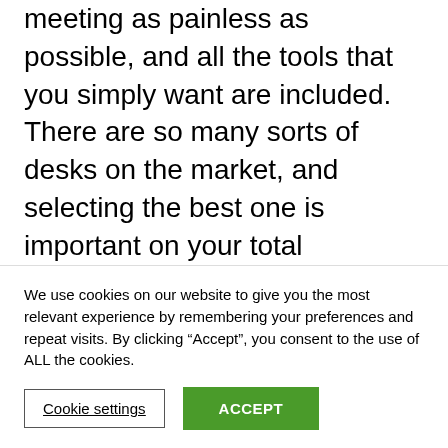meeting as painless as possible, and all the tools that you simply want are included. There are so many sorts of desks on the market, and selecting the best one is important on your total productiveness and wellbeing.
Unfortunately not all of the desks available within the US can also be bought within the UK, but there are still a couple of to select from. The gaming desk can match into forty eight-inch wide
We use cookies on our website to give you the most relevant experience by remembering your preferences and repeat visits. By clicking “Accept”, you consent to the use of ALL the cookies.
Cookie settings
ACCEPT